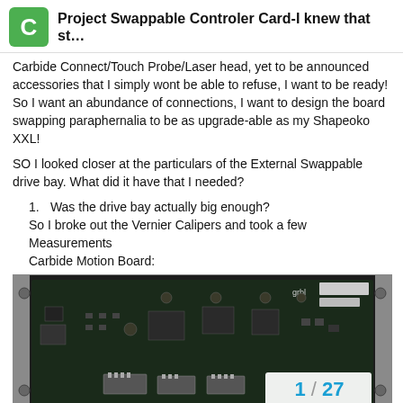Project Swappable Controler Card-I knew that st...
Carbide Connect/Touch Probe/Laser head, yet to be announced accessories that I simply wont be able to refuse, I want to be ready! So I want an abundance of connections, I want to design the board swapping paraphernalia to be as upgrade-able as my Shapeoko XXL!
SO I looked closer at the particulars of the External Swappable drive bay. What did it have that I needed?
Was the drive bay actually big enough?
So I broke out the Vernier Calipers and took a few Measurements
Carbide Motion Board:
[Figure (photo): Photo of a Carbide Motion PCB circuit board, showing a dark green/black board with various electronic components, connectors, and chips mounted on it, placed inside a metallic enclosure.]
1 / 27